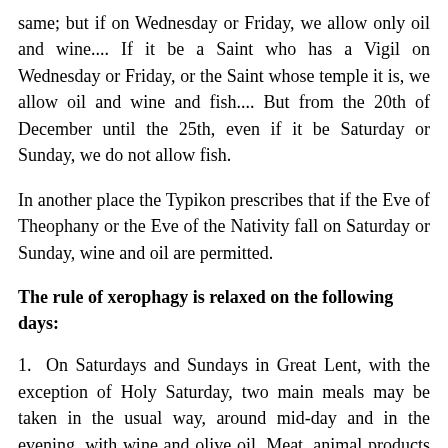same; but if on Wednesday or Friday, we allow only oil and wine.... If it be a Saint who has a Vigil on Wednesday or Friday, or the Saint whose temple it is, we allow oil and wine and fish.... But from the 20th of December until the 25th, even if it be Saturday or Sunday, we do not allow fish.
In another place the Typikon prescribes that if the Eve of Theophany or the Eve of the Nativity fall on Saturday or Sunday, wine and oil are permitted.
The rule of xerophagy is relaxed on the following days:
1.  On Saturdays and Sundays in Great Lent, with the exception of Holy Saturday, two main meals may be taken in the usual way, around mid-day and in the evening, with wine and olive oil. Meat, animal products and fish are not allowed.